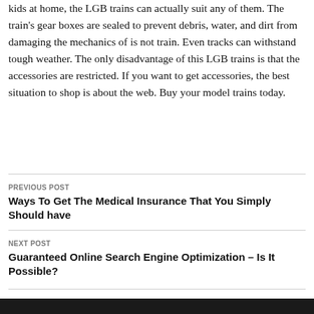kids at home, the LGB trains can actually suit any of them. The train's gear boxes are sealed to prevent debris, water, and dirt from damaging the mechanics of is not train. Even tracks can withstand tough weather. The only disadvantage of this LGB trains is that the accessories are restricted. If you want to get accessories, the best situation to shop is about the web. Buy your model trains today.
PREVIOUS POST
Ways To Get The Medical Insurance That You Simply Should have
NEXT POST
Guaranteed Online Search Engine Optimization – Is It Possible?